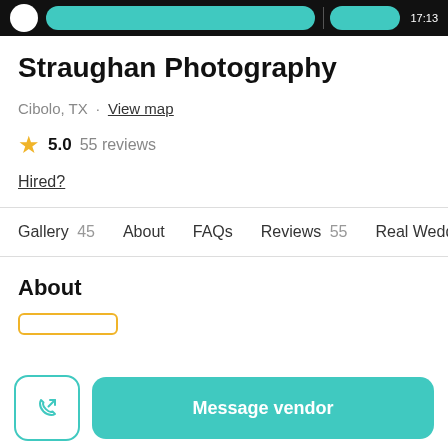Straughan Photography vendor listing page header navigation
Straughan Photography
Cibolo, TX · View map
★ 5.0  55 reviews
Hired?
Gallery 45   About   FAQs   Reviews 55   Real Weddin
About
Message vendor